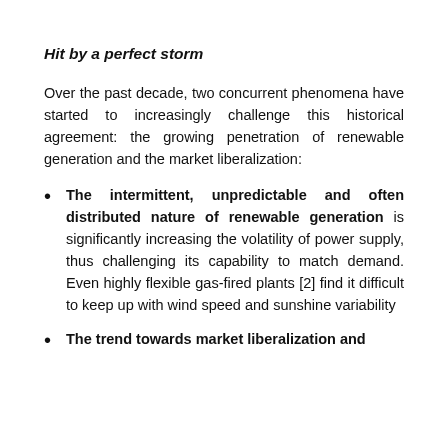Hit by a perfect storm
Over the past decade, two concurrent phenomena have started to increasingly challenge this historical agreement: the growing penetration of renewable generation and the market liberalization:
The intermittent, unpredictable and often distributed nature of renewable generation is significantly increasing the volatility of power supply, thus challenging its capability to match demand. Even highly flexible gas-fired plants [2] find it difficult to keep up with wind speed and sunshine variability
The trend towards market liberalization and